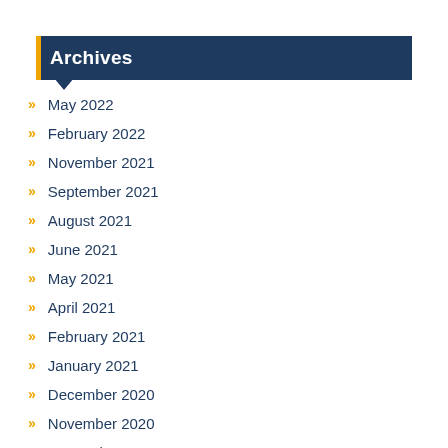Archives
May 2022
February 2022
November 2021
September 2021
August 2021
June 2021
May 2021
April 2021
February 2021
January 2021
December 2020
November 2020
September 2020
August 2020
July 2020